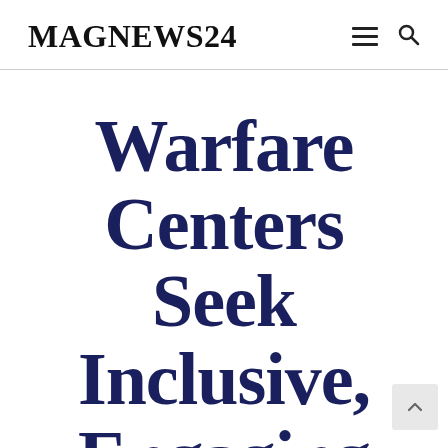MAGNEWS24
Warfare Centers Seek Inclusive, Engaging